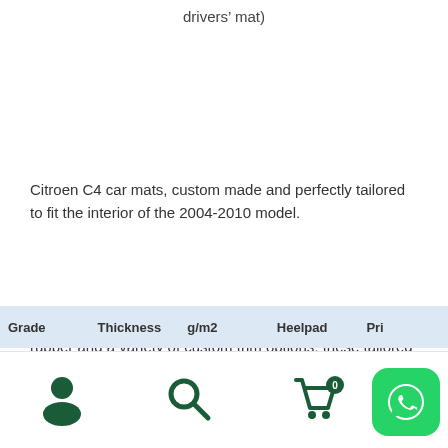drivers' mat)
Citroen C4 car mats, custom made and perfectly tailored to fit the interior of the 2004-2010 model.
Available in premium high-quality carpet or heavy duty rubber and a variety of custom trim options, these tailored and very stylish car mats will certainly enhance the interior of your Citroen C4.
| Grade | Thickness | g/m2 | Heelpad | Pri... |
| --- | --- | --- | --- | --- |